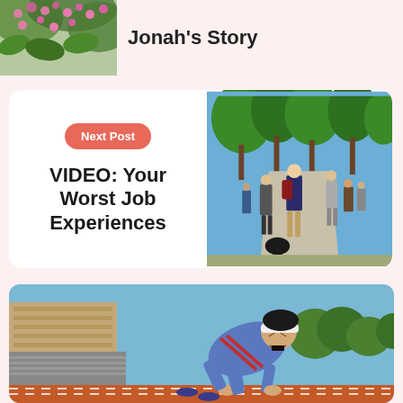[Figure (photo): Photo of pink/purple flowering plant with green leaves, partially visible at top left]
Jonah's Story
[Figure (photo): Photo of people walking on a tree-lined urban street or campus path on a sunny day]
Next Post
VIDEO: Your Worst Job Experiences
[Figure (photo): Photo of a person in a blue tracksuit with white headband in a starting position on a red running track, looking intense]